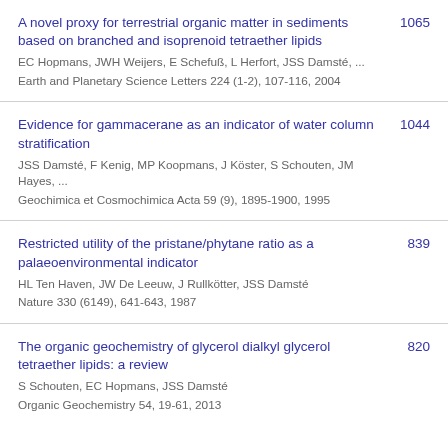A novel proxy for terrestrial organic matter in sediments based on branched and isoprenoid tetraether lipids | EC Hopmans, JWH Weijers, E Schefuß, L Herfort, JSS Damsté, ... | Earth and Planetary Science Letters 224 (1-2), 107-116, 2004 | 1065
Evidence for gammacerane as an indicator of water column stratification | JSS Damsté, F Kenig, MP Koopmans, J Köster, S Schouten, JM Hayes, ... | Geochimica et Cosmochimica Acta 59 (9), 1895-1900, 1995 | 1044
Restricted utility of the pristane/phytane ratio as a palaeoenvironmental indicator | HL Ten Haven, JW De Leeuw, J Rullkötter, JSS Damsté | Nature 330 (6149), 641-643, 1987 | 839
The organic geochemistry of glycerol dialkyl glycerol tetraether lipids: a review | S Schouten, EC Hopmans, JSS Damsté | Organic Geochemistry 54, 19-61, 2013 | 820